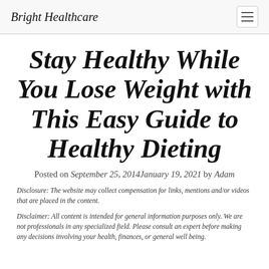Bright Healthcare
Stay Healthy While You Lose Weight with This Easy Guide to Healthy Dieting
Posted on September 25, 2014January 19, 2021 by Adam
Disclosure: The website may collect compensation for links, mentions and/or videos that are placed in the content.
Disclaimer: All content is intended for general information purposes only. We are not professionals in any specialized field. Please consult an expert before making any decisions involving your health, finances, or general well being.